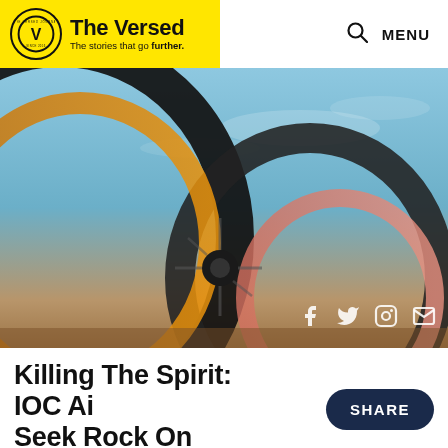The Versed — The stories that go further.
[Figure (photo): Close-up of colorful bicycle wheels (black, orange, pink) against a blue sky background, suggesting Paralympic or Olympic cycling imagery.]
Killing The Spirit: IOC Ai... Seek Rock On Olympic Hill...